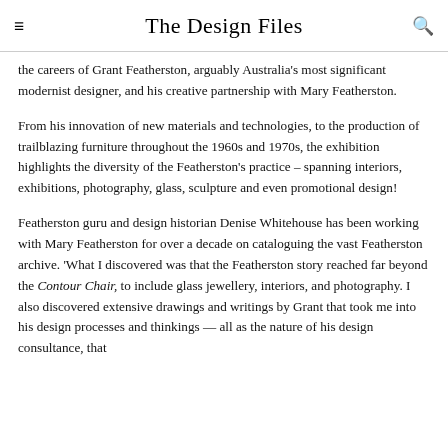The Design Files
the careers of Grant Featherston, arguably Australia's most significant modernist designer, and his creative partnership with Mary Featherston.
From his innovation of new materials and technologies, to the production of trailblazing furniture throughout the 1960s and 1970s, the exhibition highlights the diversity of the Featherston's practice – spanning interiors, exhibitions, photography, glass, sculpture and even promotional design!
Featherston guru and design historian Denise Whitehouse has been working with Mary Featherston for over a decade on cataloguing the vast Featherston archive. 'What I discovered was that the Featherston story reached far beyond the Contour Chair, to include glass jewellery, interiors, and photography. I also discovered extensive drawings and writings by Grant that took me into his design processes and thinkings — all as the nature of his design consultance, that